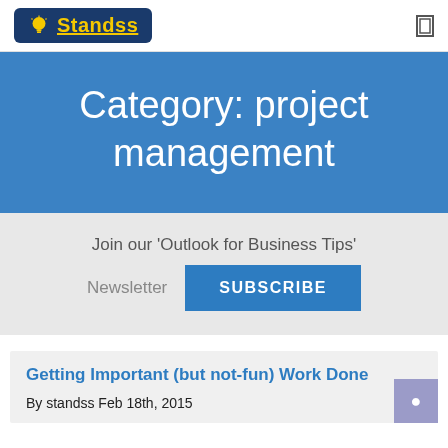Standss
Category: project management
Join our 'Outlook for Business Tips' Newsletter SUBSCRIBE
Getting Important (but not-fun) Work Done
By standss Feb 18th, 2015